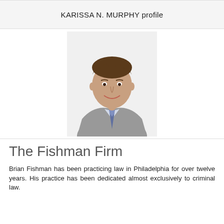KARISSA N. MURPHY profile
[Figure (photo): Professional headshot of a man in a gray suit, light blue dress shirt, and patterned tie, smiling at the camera against a white background.]
The Fishman Firm
Brian Fishman has been practicing law in Philadelphia for over twelve years. His practice has been dedicated almost exclusively to criminal law.